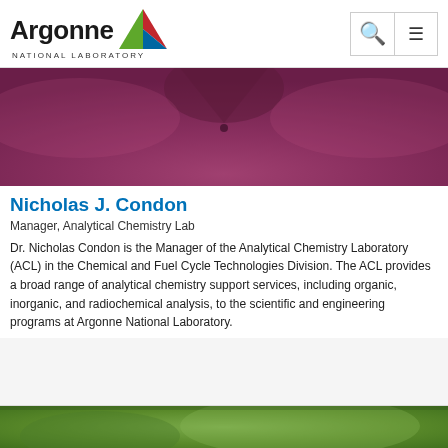Argonne National Laboratory
[Figure (photo): Photo of Nicholas J. Condon wearing a purple/magenta polo shirt, cropped to show torso and lower face]
Nicholas J. Condon
Manager, Analytical Chemistry Lab
Dr. Nicholas Condon is the Manager of the Analytical Chemistry Laboratory (ACL) in the Chemical and Fuel Cycle Technologies Division. The ACL provides a broad range of analytical chemistry support services, including organic, inorganic, and radiochemical analysis, to the scientific and engineering programs at Argonne National Laboratory.
[Figure (photo): Partial photo at bottom of page, showing green/outdoor scene, cropped]